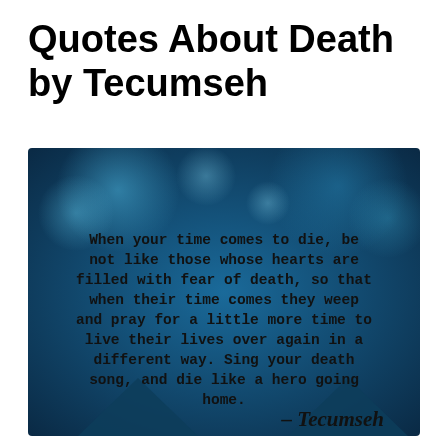Quotes About Death by Tecumseh
[Figure (illustration): Dark blue bokeh background image with lighter blue circular bokeh light effects. Contains centered quote text in bold monospace font: 'When your time comes to die, be not like those whose hearts are filled with fear of death, so that when their time comes they weep and pray for a little more time to live their lives over again in a different way. Sing your death song, and die like a hero going home.' Attributed to Tecumseh in bold italic serif font at bottom right.]